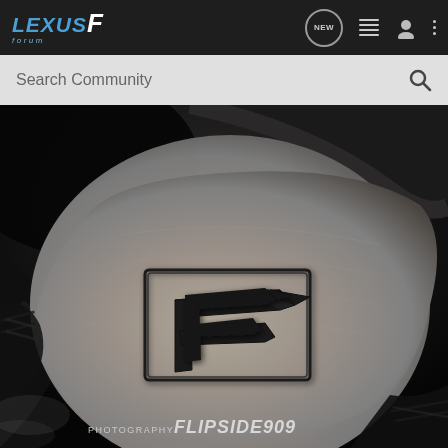LEXUS F Forum - navigation header with NEW, list, user, more icons
Search Community
[Figure (photo): Close-up photograph of a Lexus F steering wheel paddle or trim piece showing the Lexus F logo emblem in metallic/brushed aluminum finish against a dark background. Watermark reads 'PHOTOGRAPHY FLIPSIDE909' in the bottom right corner.]